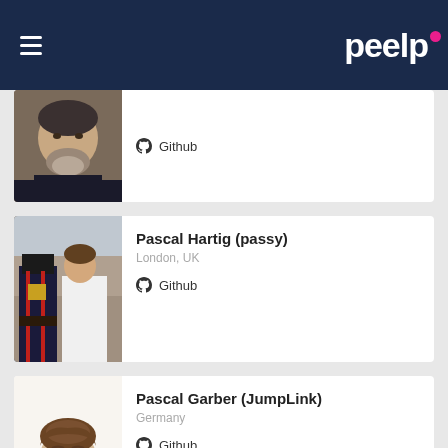[Figure (screenshot): Peelp website header with dark navy background, hamburger menu icon on left, 'peelp' logo in white with pink dot on right]
[Figure (photo): Profile card with bearded man's photo, showing Github link]
Github
[Figure (photo): Profile card for Pascal Hartig (passy), London UK, showing two people posing in London with a Beefeater guard, Github link]
Pascal Hartig (passy)
London, UK
Github
[Figure (illustration): Profile card for Pascal Garber (JumpLink), Germany, with cartoon avatar illustration of young man with brown hair and beard, Github link]
Pascal Garber (JumpLink)
Germany
Github